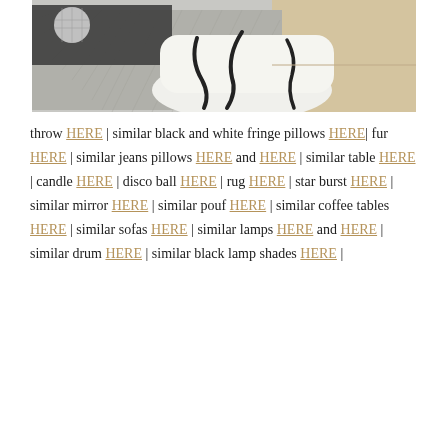[Figure (photo): A fluffy white pouf with black abstract line pattern, sitting on a grey herringbone rug with a glass coffee table and disco ball in the background.]
throw HERE | similar black and white fringe pillows HERE| fur HERE | similar jeans pillows HERE and HERE | similar table HERE | candle HERE | disco ball HERE | rug HERE | star burst HERE | similar mirror HERE | similar pouf HERE | similar coffee tables HERE | similar sofas HERE | similar lamps HERE and HERE | similar drum HERE | similar black lamp shades HERE |